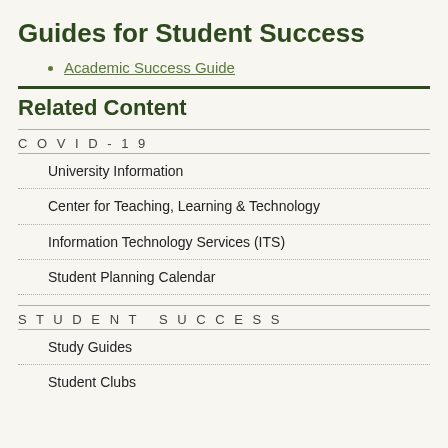Guides for Student Success
Academic Success Guide
Related Content
COVID-19
University Information
Center for Teaching, Learning & Technology
Information Technology Services (ITS)
Student Planning Calendar
STUDENT SUCCESS
Study Guides
Student Clubs